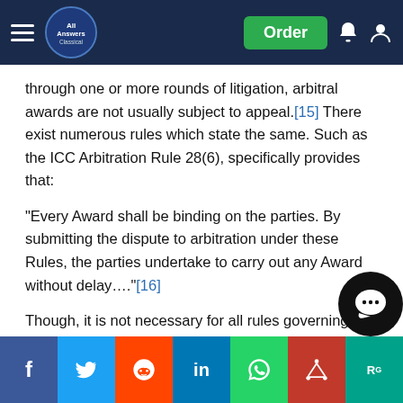All Answers Classical — navigation bar with Order button
through one or more rounds of litigation, arbitral awards are not usually subject to appeal.[15] There exist numerous rules which state the same. Such as the ICC Arbitration Rule 28(6), specifically provides that:
“Every Award shall be binding on the parties. By submitting the dispute to arbitration under these Rules, the parties undertake to carry out any Award without delay….”[16]
Though, it is not necessary for all rules governing arbitration to state so. Yet, it must be considered that any procedure which does not lead to a final and binding determination of the rights and obligations of the parties is not arbitration.
Most importantly, Article III of the New York Convention requires a… s… t… o… arbitral awards and judici… fr… th… si… a… it…